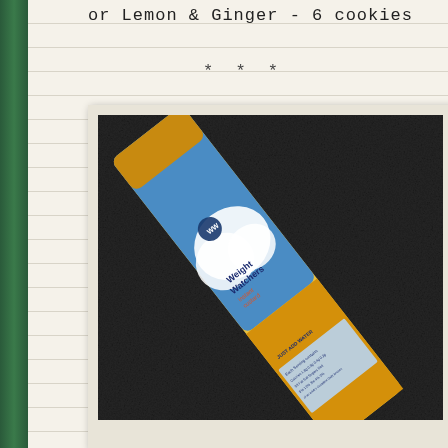or Lemon & Ginger - 6 cookies
* * *
[Figure (photo): Weight Watchers instant custard packet lying diagonally on a dark granite surface. The packet is blue, white and golden/yellow with the Weight Watchers logo. Text on packet reads 'Weight Watchers instant custard' and 'JUST ADD WATER'. Nutritional information panel visible at bottom of packet.]